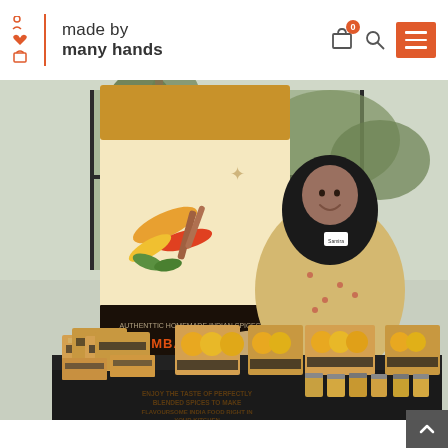made by many hands
[Figure (photo): A woman wearing a black hijab and a beige/gold embroidered dress sits smiling behind a market display table. The table is covered with a black cloth and displays many kraft paper spice packets, glass jars of spices, and branded 'Bombay Spices' packaging. Behind her is a tall display banner with illustrations of peppers and spices, and a sign reading 'BOMBAY SPICES'. A large window with outdoor greenery is visible in the background.]